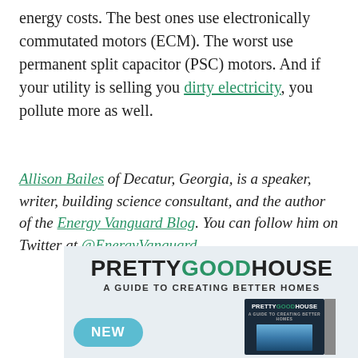energy costs. The best ones use electronically commutated motors (ECM). The worst use permanent split capacitor (PSC) motors. And if your utility is selling you dirty electricity, you pollute more as well.
Allison Bailes of Decatur, Georgia, is a speaker, writer, building science consultant, and the author of the Energy Vanguard Blog. You can follow him on Twitter at @EnergyVanguard.
[Figure (other): Advertisement for the book 'Pretty Good House: A Guide to Creating Better Homes' showing the book cover with a NEW badge.]